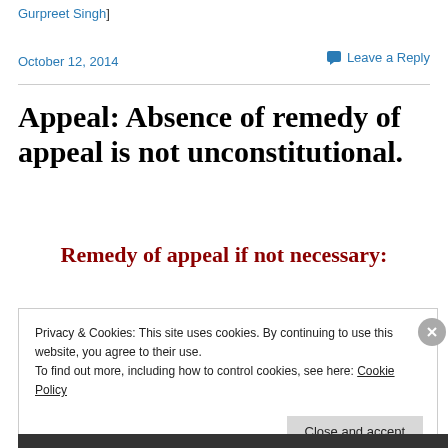Gurpreet Singh]
October 12, 2014
Leave a Reply
Appeal: Absence of remedy of appeal is not unconstitutional.
Remedy of appeal if not necessary:
Privacy & Cookies: This site uses cookies. By continuing to use this website, you agree to their use.
To find out more, including how to control cookies, see here: Cookie Policy
Close and accept